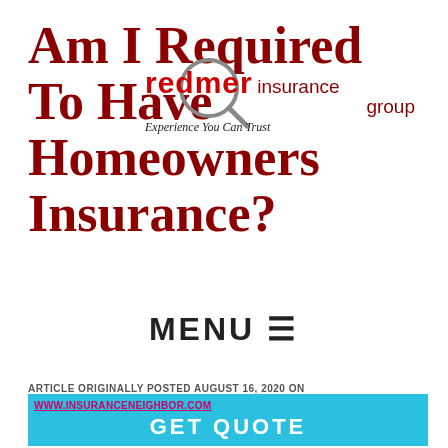Am I Required To Have Homeowners Insurance?
[Figure (logo): Redmer Insurance Group logo with magnifying glass graphic, tagline: Experience You Can Trust]
MENU ≡
ARTICLE ORIGINALLY POSTED AUGUST 16, 2020 ON
WWW.INSURANCENEIGHBOR.COM
GET QUOTE